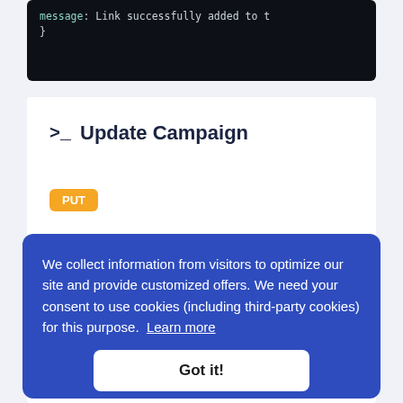[Figure (screenshot): Code block showing partial JSON response with 'message': 'Link successfully added to ...' and closing curly brace on dark background]
>_ Update Campaign
PUT
We collect information from visitors to optimize our site and provide customized offers. We need your consent to use cookies (including third-party cookies) for this purpose. Learn more
Got it!